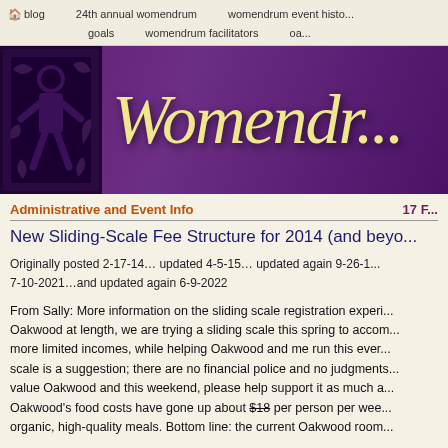🏠blog   24th annual womendrum   womendrum event history   goals   womendrum facilitators   oa...
[Figure (illustration): Womendrum website banner with purple gradient background, decorative black square image on left, and italic script 'Womendrum' text in cream/gold color]
Administrative and Event Info   17 F...
New Sliding-Scale Fee Structure for 2014 (and beyond...)
Originally posted 2-17-14… updated 4-5-15… updated again 9-26-1... 7-10-2021…and updated again 6-9-2022
From Sally: More information on the sliding scale registration experience... Oakwood at length, we are trying a sliding scale this spring to accommodate more limited incomes, while helping Oakwood and me run this event... scale is a suggestion; there are no financial police and no judgments... value Oakwood and this weekend, please help support it as much as... Oakwood's food costs have gone up about $18 per person per week... organic, high-quality meals. Bottom line: the current Oakwood room...